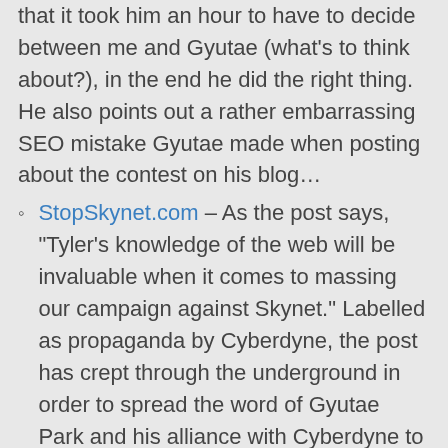that it took him an hour to have to decide between me and Gyutae (what's to think about?), in the end he did the right thing. He also points out a rather embarrassing SEO mistake Gyutae made when posting about the contest on his blog…
StopSkynet.com – As the post says, "Tyler's knowledge of the web will be invaluable when it comes to massing our campaign against Skynet." Labelled as propaganda by Cyberdyne, the post has crept through the underground in order to spread the word of Gyutae Park and his alliance with Cyberdyne to create the early Terminator models…
MeganLovesDance.com – Seeing Megan's design makes me miss my old pink blog design. But mine never had dots on it… unfortunately.